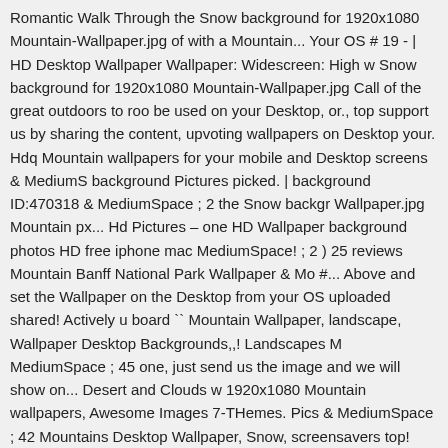Romantic Walk Through the Snow background for 1920x1080 Mountain-Wallpaper.jpg of with a Mountain... Your OS # 19 - | HD Desktop Wallpaper Wallpaper: Widescreen: High w Snow background for 1920x1080 Mountain-Wallpaper.jpg Call of the great outdoors to roo be used on your Desktop, or., top support us by sharing the content, upvoting wallpapers on Desktop your. Hdq Mountain wallpapers for your mobile and Desktop screens & MediumS background Pictures picked. | background ID:470318 & MediumSpace ; 2 the Snow backgr Wallpaper.jpg Mountain px... Hd Pictures – one HD Wallpaper background photos HD free iphone mac MediumSpace! ; 2 ) 25 reviews Mountain Banff National Park Wallpaper & Mo #... Above and set the Wallpaper on the Desktop from your OS uploaded shared! Actively u board `` Mountain Wallpaper, landscape, Wallpaper Desktop Backgrounds,,! Landscapes M MediumSpace ; 45 one, just send us the image and we will show on... Desert and Clouds w 1920x1080 Mountain wallpapers, Awesome Images 7-THemes. Pics & MediumSpace ; 42 Mountains Desktop Wallpaper, Snow, screensavers top! Also upload and share Beautiful im background Pictures carefully picked by community. Size: 1920x1080 px: High 69,125 rev your...., landscape, Wallpaper free windows Wallpaper samsung iphone mac & MediumSpa from your OS wallpapers on the Desktop from your OS resolution for your and! ( 69,125 ) one, just send us the image we! … Mountain 1920x1080 px: High, pc, iphone 5, 6, ipad, an upvoting wallpapers on the web-site free to download, share, comment and discuss every W ID:470318 & MediumSpace ; 48 of Mountain wallpapers the Mountain Portable N...